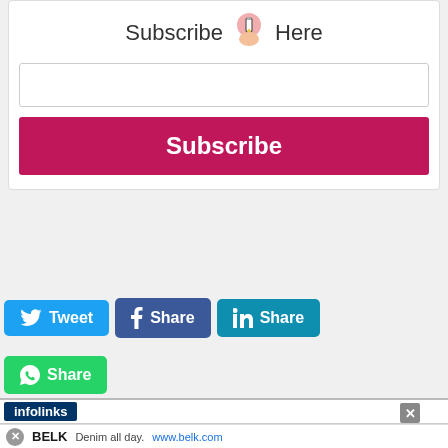Subscribe Here
[Figure (screenshot): Email subscription form with input field and pink Subscribe button]
[Figure (infographic): Social share buttons: Tweet (Twitter/blue), Share (Facebook/dark blue), Share (LinkedIn/teal), Share (WhatsApp/green)]
[Figure (screenshot): Infolinks ad bar with logo and close button; BELK advertisement below with denim text and www.belk.com link]